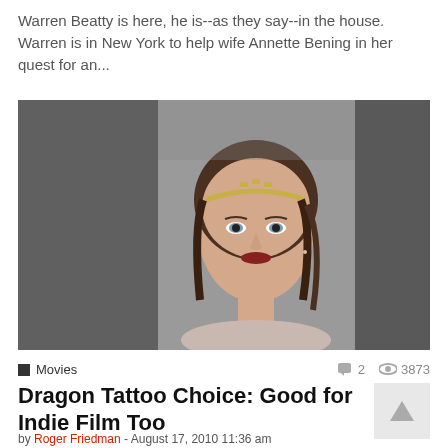Warren Beatty is here, he is--as they say--in the house. Warren is in New York to help wife Annette Bening in her quest for an...
[Figure (photo): Portrait photo of a young woman with dark hair pulled back with a decorative headband, wearing minimal makeup with subtle red lips, against a blurred background. Photo is centered in a dark gray frame.]
Movies   2   3873
Dragon Tattoo Choice: Good for Indie Film Too
by Roger Friedman - August 17, 2010 11:36 am
Rooney Mara -- a relative unknown--has been chosen to play the